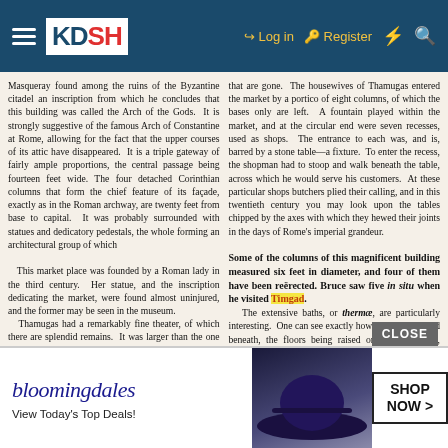KDSH navigation bar with Log in, Register, and search icons
Masqueray found among the ruins of the Byzantine citadel an inscription from which he concludes that this building was called the Arch of the Gods. It is strongly suggestive of the famous Arch of Constantine at Rome, allowing for the fact that the upper courses of its attic have disappeared. It is a triple gateway of fairly ample proportions, the central passage being fourteen feet wide. The four detached Corinthian columns that form the chief feature of its façade, exactly as in the Roman archway, are twenty feet from base to capital. It was probably surrounded with statues and dedicatory pedestals, the whole forming an architectural group of which
that are gone. The housewives of Thamugas entered the market by a portico of eight columns, of which the bases only are left. A fountain played within the market, and at the circular end were seven recesses, used as shops. The entrance to each was, and is, barred by a stone table—a fixture. To enter the recess, the shopman had to stoop and walk beneath the table, across which he would serve his customers. At these particular shops butchers plied their calling, and in this twentieth century you may look upon the tables chipped by the axes with which they hewed their joints in the days of Rome's imperial grandeur.
This market place was founded by a Roman lady in the third century. Her statue, and the inscription dedicating the market, were found almost uninjured, and the former may be seen in the museum.
Thamugas had a remarkably fine theater, of which there are splendid remains. It was larger than the one at Pompeii, seating about four thousand people. The remains of fourteen columns were found, then they and the have been play may magnificent Anothe
Some of the columns of this magnificent building measured six feet in diameter, and four of them have been reërected. Bruce saw five in situ when he visited Timgad.
The extensive baths, or thermæ, are particularly interesting. One can see exactly how they were heated beneath, the floors being raised on piles of brick, which are still standing. Under these the fuel was kindled. Excavators found in place quired. have been n all the Some